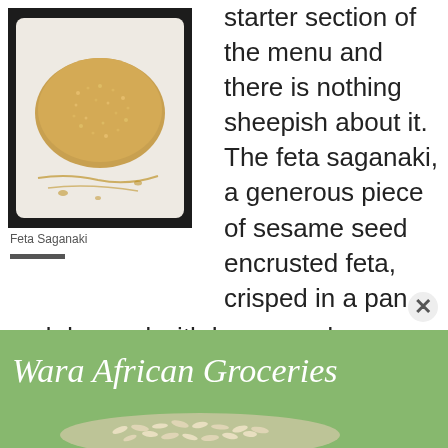[Figure (photo): Photo of Feta Saganaki dish on a white plate with sauce drizzle, sesame seed encrusted feta]
Feta Saganaki
starter section of the menu and there is nothing sheepish about it. The feta saganaki, a generous piece of sesame seed encrusted feta, crisped in a pan and dressed with honey and balsamic glaze, is a nice blend of salty and sweet to start the meal. The honey adds a touch that delightfully balances the molten cheese
[Figure (photo): Advertisement for Wara African Groceries showing grains on a green background]